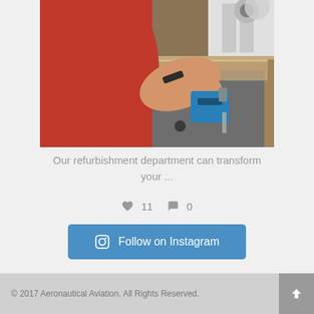[Figure (photo): Person in red shirt using a power tool (jigsaw) on a large metal sheet on a workbench in a workshop setting]
Our refurbishment department can transform your ...
♥ 11  💬 0
Follow on Instagram
© 2017 Aeronautical Aviation. All Rights Reserved.